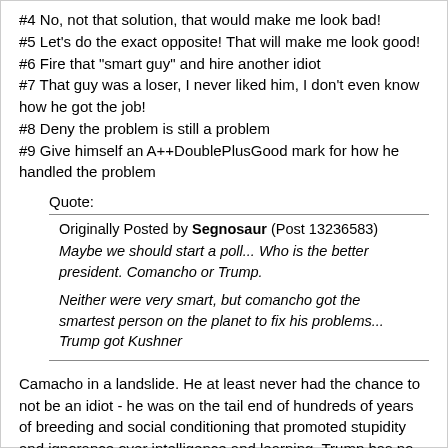#4 No, not that solution, that would make me look bad!
#5 Let's do the exact opposite! That will make me look good!
#6 Fire that "smart guy" and hire another idiot
#7 That guy was a loser, I never liked him, I don't even know how he got the job!
#8 Deny the problem is still a problem
#9 Give himself an A++DoublePlusGood mark for how he handled the problem
Quote:
Originally Posted by Segnosaur (Post 13236583)
Maybe we should start a poll... Who is the better president. Comancho or Trump.

Neither were very smart, but comancho got the smartest person on the planet to fix his problems... Trump got Kushner
Camacho in a landslide. He at least never had the chance to not be an idiot - he was on the tail end of hundreds of years of breeding and social conditioning that promoted stupidity and ignorance over intelligence and learning. Trump has no such excuse. He's stupid because he's lazy, and squandered the huge opportunities he had on account of being born into wealth.